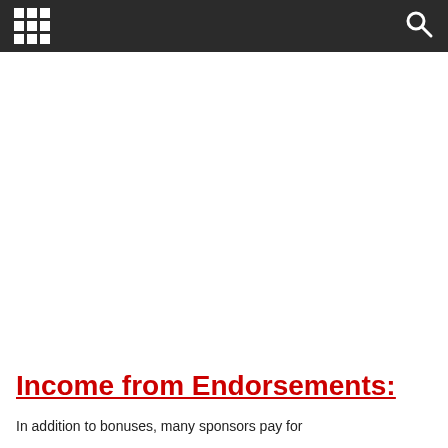Income from Endorsements:
In addition to bonuses, many sponsors pay for